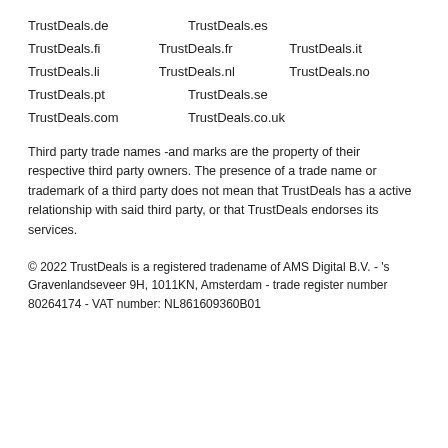TrustDeals.de    TrustDeals.es
TrustDeals.fi    TrustDeals.fr    TrustDeals.it
TrustDeals.li    TrustDeals.nl    TrustDeals.no
TrustDeals.pt    TrustDeals.se
TrustDeals.com    TrustDeals.co.uk
Third party trade names -and marks are the property of their respective third party owners. The presence of a trade name or trademark of a third party does not mean that TrustDeals has a active relationship with said third party, or that TrustDeals endorses its services.
© 2022 TrustDeals is a registered tradename of AMS Digital B.V. - 's Gravenlandseveer 9H, 1011KN, Amsterdam - trade register number 80264174 - VAT number: NL861609360B01